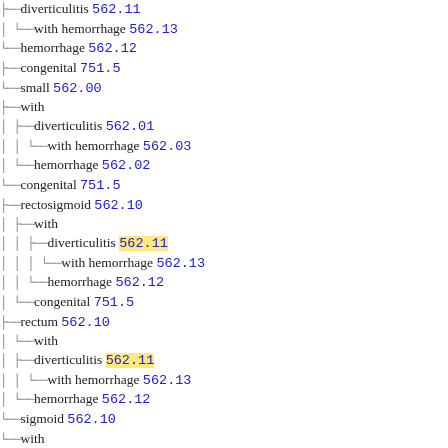diverticulitis 562.11
with hemorrhage 562.13
hemorrhage 562.12
congenital 751.5
small 562.00
with
diverticulitis 562.01
with hemorrhage 562.03
hemorrhage 562.02
congenital 751.5
rectosigmoid 562.10
with
diverticulitis 562.11 [highlighted]
with hemorrhage 562.13
hemorrhage 562.12
congenital 751.5
rectum 562.10
with
diverticulitis 562.11 [highlighted]
with hemorrhage 562.13
hemorrhage 562.12
sigmoid 562.10
with